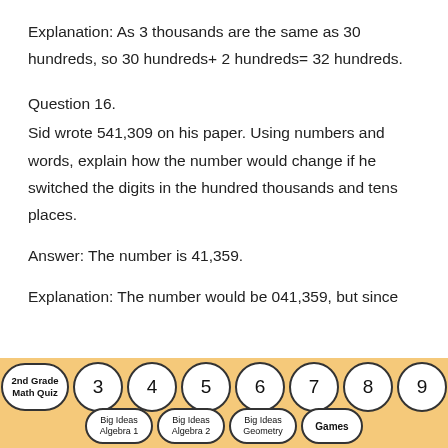Explanation: As 3 thousands are the same as 30 hundreds, so 30 hundreds+ 2 hundreds= 32 hundreds.
Question 16.
Sid wrote 541,309 on his paper. Using numbers and words, explain how the number would change if he switched the digits in the hundred thousands and tens places.
Answer: The number is 41,359.
Explanation: The number would be 041,359, but since
[Figure (other): Footer navigation bar with circular buttons: 2nd Grade Math Quiz, 3, 4, 5, 6, 7, 8, 9 (top row); Big Ideas Algebra 1, Big Ideas Algebra 2, Big Ideas Geometry, Games (bottom row)]